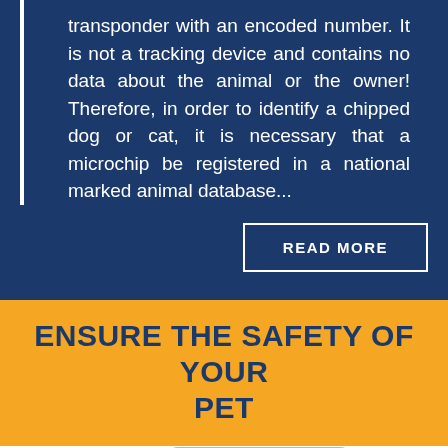transponder with an encoded number. It is not a tracking device and contains no data about the animal or the owner! Therefore, in order to identify a chipped dog or cat, it is necessary that a microchip be registered in a national marked animal database...
READ MORE
ENSURE THE SAFETY OF YOUR PET
[Figure (illustration): Two overlapping pet ID cards with 'WPN' text and a cartoon cat face illustration, on a light blue background]